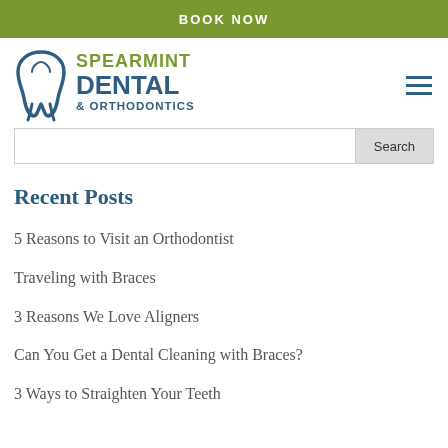BOOK NOW
[Figure (logo): Spearmint Dental & Orthodontics logo with tooth icon]
Recent Posts
5 Reasons to Visit an Orthodontist
Traveling with Braces
3 Reasons We Love Aligners
Can You Get a Dental Cleaning with Braces?
3 Ways to Straighten Your Teeth